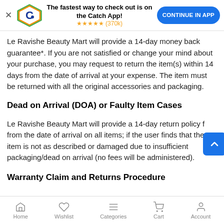[Figure (screenshot): App banner with Catch logo, 'The fastest way to check out is on the Catch App!' text, star rating (370k), and 'CONTINUE IN APP' button]
Le Ravishe Beauty Mart will provide a 14-day money back guarantee*. If you are not satisfied or change your mind about your purchase, you may request to return the item(s) within 14 days from the date of arrival at your expense. The item must be returned with all the original accessories and packaging.
Dead on Arrival (DOA) or Faulty Item Cases
Le Ravishe Beauty Mart will provide a 14-day return policy f from the date of arrival on all items; if the user finds that the item is not as described or damaged due to insufficient packaging/dead on arrival (no fees will be administered).
Warranty Claim and Returns Procedure
Home  Wishlist  Categories  Cart  Account